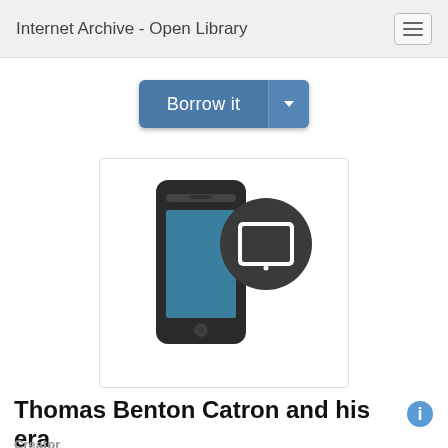Internet Archive - Open Library
[Figure (other): Borrow it button with dropdown arrow, styled in blue]
[Figure (illustration): Smartphone icon with a tablet/e-reader badge icon overlapping in the top right corner, on a white card]
Thomas Benton Catron and his era
Creator
Westphall, Victor